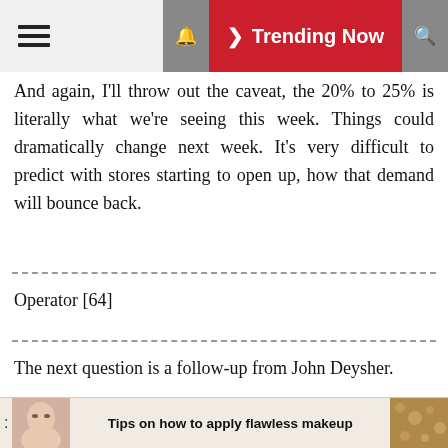≡  🔔  ❯ Trending Now  🔍
And again, I'll throw out the caveat, the 20% to 25% is literally what we're seeing this week. Things could dramatically change next week. It's very difficult to predict with stores starting to open up, how that demand will bounce back.
Operator [64]
The next question is a follow-up from John Deysher.
John Eric Deysher, Bertolet Capital Trust – Pinnacle Value
[Figure (photo): Advertisement banner: photo of woman applying makeup on left, text 'Tips on how to apply flawless makeup' in center, decorative photo on right]